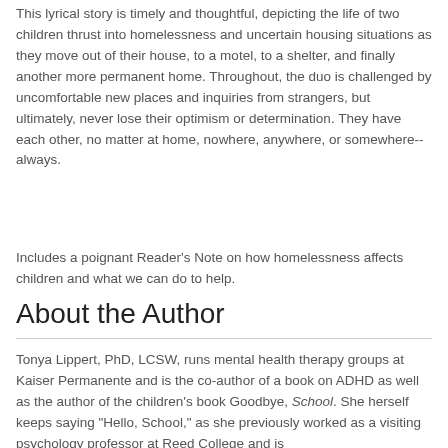This lyrical story is timely and thoughtful, depicting the life of two children thrust into homelessness and uncertain housing situations as they move out of their house, to a motel, to a shelter, and finally another more permanent home. Throughout, the duo is challenged by uncomfortable new places and inquiries from strangers, but ultimately, never lose their optimism or determination. They have each other, no matter at home, nowhere, anywhere, or somewhere--always.
Includes a poignant Reader's Note on how homelessness affects children and what we can do to help.
About the Author
Tonya Lippert, PhD, LCSW, runs mental health therapy groups at Kaiser Permanente and is the co-author of a book on ADHD as well as the author of the children's book Goodbye, School. She herself keeps saying "Hello, School," as she previously worked as a visiting psychology professor at Reed College and is